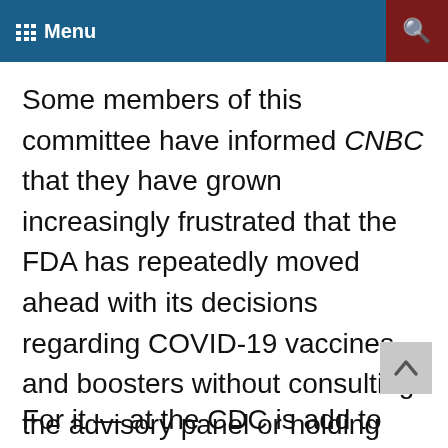Menu
Some members of this committee have informed CNBC that they have grown increasingly frustrated that the FDA has repeatedly moved ahead with its decisions regarding COVID-19 vaccines and boosters without consulting the advisory panel or holding open public discussions.
For it — at the CDC is add to